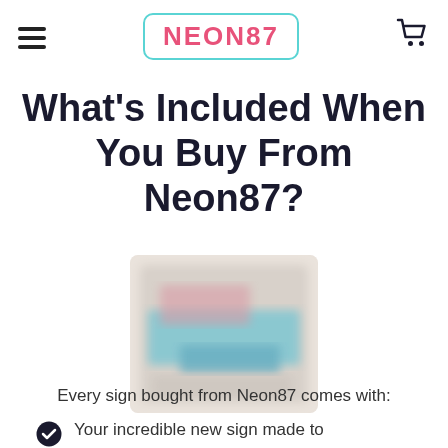NEON87
What's Included When You Buy From Neon87?
[Figure (photo): Blurred product image showing a neon sign with blue and pink colors in packaging]
Every sign bought from Neon87 comes with:
Your incredible new sign made to